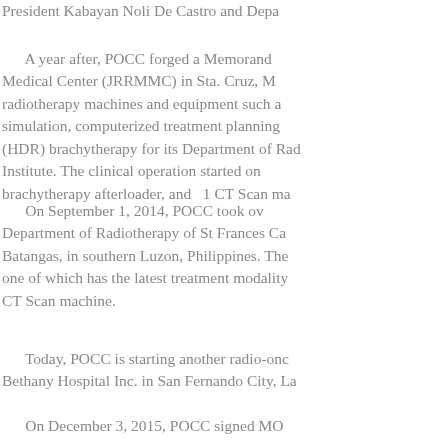President Kabayan Noli De Castro and Depa...
A year after, POCC forged a Memorand... Medical Center (JRRMMC) in Sta. Cruz, M... radiotherapy machines and equipment such a... simulation, computerized treatment planning... (HDR) brachytherapy for its Department of Rad... Institute. The clinical operation started on... brachytherapy afterloader, and 1 CT Scan ma...
On September 1, 2014, POCC took ov... Department of Radiotherapy of St Frances Ca... Batangas, in southern Luzon, Philippines. The... one of which has the latest treatment modality... CT Scan machine.
Today, POCC is starting another radio-onc... Bethany Hospital Inc. in San Fernando City, La...
On December 3, 2015, POCC signed MO...